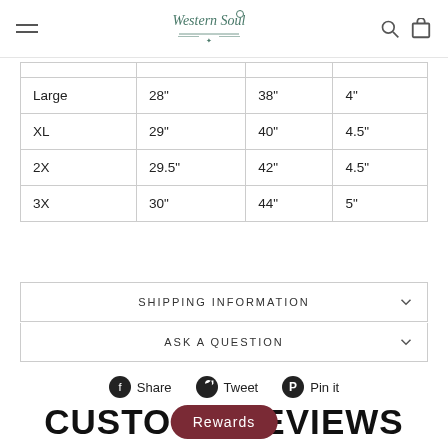Western Soul — navigation header with hamburger menu, logo, search and cart icons
|  |  |  |  |
| --- | --- | --- | --- |
| Large | 28" | 38" | 4" |
| XL | 29" | 40" | 4.5" |
| 2X | 29.5" | 42" | 4.5" |
| 3X | 30" | 44" | 5" |
SHIPPING INFORMATION
ASK A QUESTION
Share   Tweet   Pin it
CUSTOMER REVIEWS